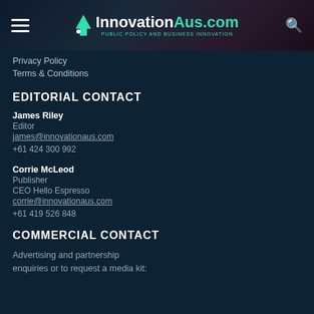InnovationAus.com - PUBLIC POLICY AND BUSINESS INNOVATION
Privacy Policy
Terms & Conditions
EDITORIAL CONTACT
James Riley
Editor
james@innovationaus.com
+61 424 300 992
Corrie McLeod
Publisher
CEO Hello Espresso
corrie@innovationaus.com
+61 419 526 848
COMMERCIAL CONTACT
Advertising and partnership enquiries or to request a media kit: